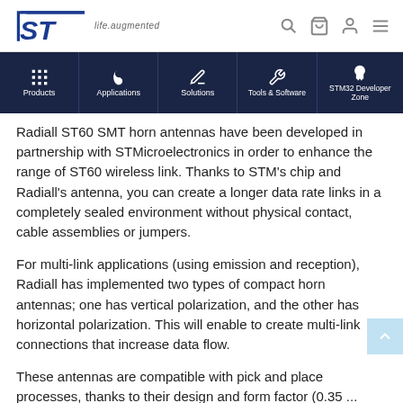STMicroelectronics — life.augmented
[Figure (screenshot): STMicroelectronics navigation bar with Products, Applications, Solutions, Tools & Software, STM32 Developer Zone]
Radiall ST60 SMT horn antennas have been developed in partnership with STMicroelectronics in order to enhance the range of ST60 wireless link. Thanks to STM's chip and Radiall's antenna, you can create a longer data rate links in a completely sealed environment without physical contact, cable assemblies or jumpers.
For multi-link applications (using emission and reception), Radiall has implemented two types of compact horn antennas; one has vertical polarization, and the other has horizontal polarization. This will enable to create multi-link connections that increase data flow.
These antennas are compatible with pick and place processes, thanks to their design and form factor (0.35 ...